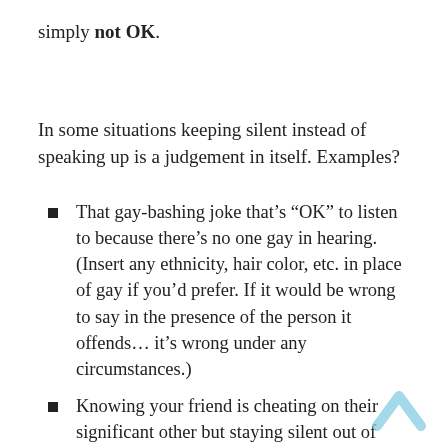simply not OK.
In some situations keeping silent instead of speaking up is a judgement in itself. Examples?
That gay-bashing joke that’s “OK” to listen to because there’s no one gay in hearing. (Insert any ethnicity, hair color, etc. in place of gay if you’d prefer. If it would be wrong to say in the presence of the person it offends… it’s wrong under any circumstances.)
Knowing your friend is cheating on their significant other but staying silent out of loyalty. (Tacit compliance is outright endorsement.)
Not knowing what to think about this whole “believe in God” thing, so just ignoring it and hoping it will go away. (Ignoring is a decision,